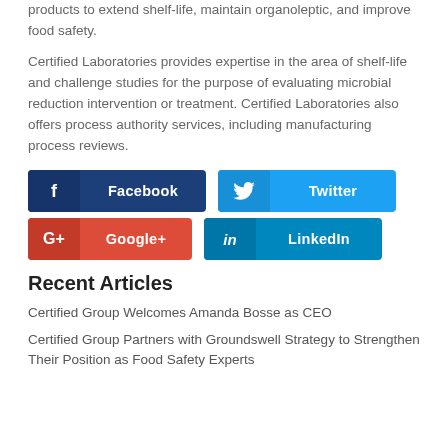products to extend shelf-life, maintain organoleptic, and improve food safety.
Certified Laboratories provides expertise in the area of shelf-life and challenge studies for the purpose of evaluating microbial reduction intervention or treatment. Certified Laboratories also offers process authority services, including manufacturing process reviews.
[Figure (infographic): Four social media share buttons: Facebook (dark blue), Twitter (light blue), Google+ (red), LinkedIn (teal blue)]
Recent Articles
Certified Group Welcomes Amanda Bosse as CEO
Certified Group Partners with Groundswell Strategy to Strengthen Their Position as Food Safety Experts